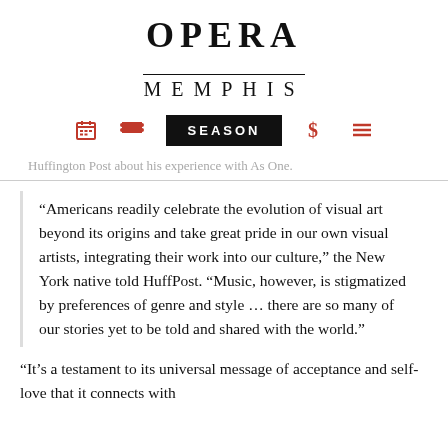OPERA MEMPHIS
Huffington Post about his experience with As One.
“Americans readily celebrate the evolution of visual art beyond its origins and take great pride in our own visual artists, integrating their work into our culture,” the New York native told HuffPost. “Music, however, is stigmatized by preferences of genre and style … there are so many of our stories yet to be told and shared with the world.”
“It’s a testament to its universal message of acceptance and self-love that it connects with